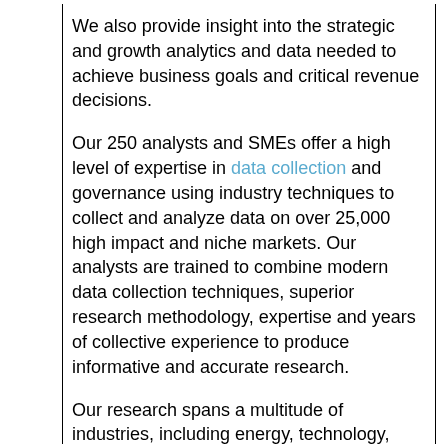We also provide insight into the strategic and growth analytics and data needed to achieve business goals and critical revenue decisions.
Our 250 analysts and SMEs offer a high level of expertise in data collection and governance using industry techniques to collect and analyze data on over 25,000 high impact and niche markets. Our analysts are trained to combine modern data collection techniques, superior research methodology, expertise and years of collective experience to produce informative and accurate research.
Our research spans a multitude of industries, including energy, technology, manufacturing and construction, chemicals and materials, food and beverage, and more. Having served many